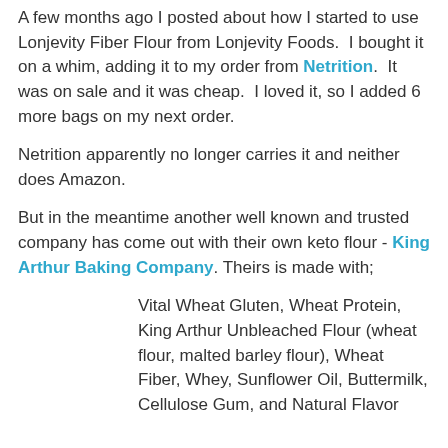A few months ago I posted about how I started to use Lonjevity Fiber Flour from Lonjevity Foods. I bought it on a whim, adding it to my order from Netrition. It was on sale and it was cheap. I loved it, so I added 6 more bags on my next order.
Netrition apparently no longer carries it and neither does Amazon.
But in the meantime another well known and trusted company has come out with their own keto flour - King Arthur Baking Company. Theirs is made with;
Vital Wheat Gluten, Wheat Protein, King Arthur Unbleached Flour (wheat flour, malted barley flour), Wheat Fiber, Whey, Sunflower Oil, Buttermilk, Cellulose Gum, and Natural Flavor